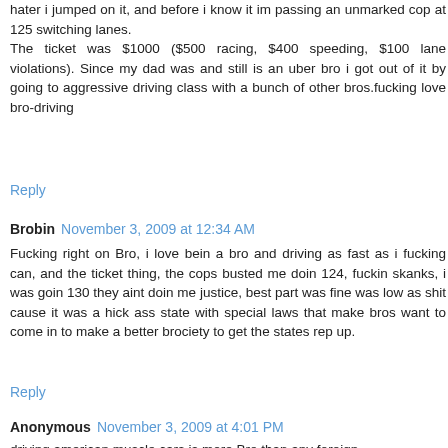hater i jumped on it, and before i know it im passing an unmarked cop at 125 switching lanes.
The ticket was $1000 ($500 racing, $400 speeding, $100 lane violations). Since my dad was and still is an uber bro i got out of it by going to aggressive driving class with a bunch of other bros.fucking love bro-driving
Reply
Brobin  November 3, 2009 at 12:34 AM
Fucking right on Bro, i love bein a bro and driving as fast as i fucking can, and the ticket thing, the cops busted me doin 124, fuckin skanks, i was goin 130 they aint doin me justice, best part was fine was low as shit cause it was a hick ass state with special laws that make bros want to come in to make a better brociety to get the states rep up.
Reply
Anonymous  November 3, 2009 at 4:01 PM
driving american muscle cars is more Bro than any foreign